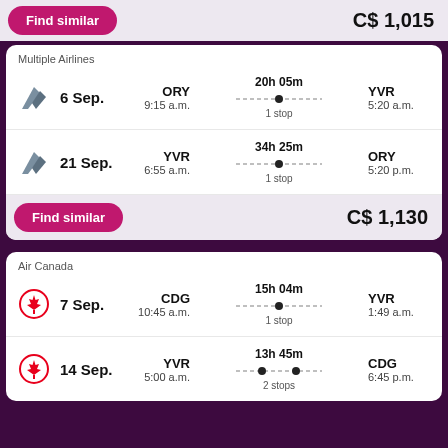Find similar   C$ 1,015
Multiple Airlines
6 Sep.  ORY 9:15 a.m.  20h 05m  1 stop  YVR 5:20 a.m.
21 Sep.  YVR 6:55 a.m.  34h 25m  1 stop  ORY 5:20 p.m.
Find similar   C$ 1,130
Air Canada
7 Sep.  CDG 10:45 a.m.  15h 04m  1 stop  YVR 1:49 a.m.
14 Sep.  YVR 5:00 a.m.  13h 45m  2 stops  CDG 6:45 p.m.